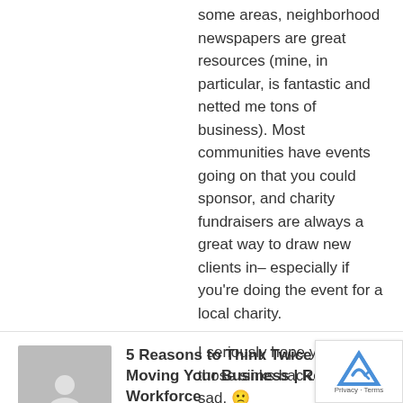some areas, neighborhood newspapers are great resources (mine, in particular, is fantastic and netted me tons of business). Most communities have events going on that you could sponsor, and charity fundraisers are always a great way to draw new clients in– especially if you're doing the event for a local charity.
I seriously hope you get those sinks back. That's so sad. 🙁
Reply
5 Reasons to Think Twice Before Moving Your Business | Resources Workforce
June 28, 2015 At 6:39 am
[…] First of all, you want to keep the same phone number if it is in any way possible. You also need